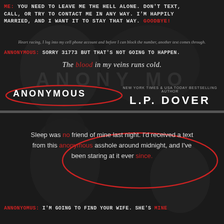[Figure (illustration): Top book cover panel for 'Anonymous' by L.P. Dover. Dark background with monochrome image. Text messages displayed in courier font. ME: YOU NEED TO LEAVE ME THE HELL ALONE. DON'T TEXT, CALL, OR TRY TO CONTACT ME IN ANY WAY. I'M HAPPILY MARRIED, AND I WANT IT TO STAY THAT WAY. GOODBYE! Italic narrative text: Heart racing, I log into my cell phone account and before I can block the number, another text comes through. ANNONYMOUS: SORRY 31773 BUT THAT'S NOT GOING TO HAPPEN. Italic quote: The blood in my veins runs cold. ANONYMOUS title with red oval. L.P. DOVER author name. New York Times & USA Today Bestselling Author.]
[Figure (illustration): Bottom book excerpt panel. Dark background showing hooded figure. Text reads: Sleep was no friend of mine last night. I'd received a text from this anonymous asshole around midnight, and I've been staring at it ever since. Red oval graphic overlaid. ANNONYOMUS: I'M GOING TO FIND YOUR WIFE. SHE'S MINE]